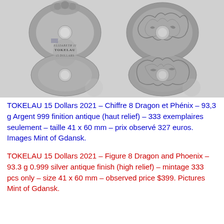[Figure (photo): Two silver coins from Tokelau 2021 – Figure 8 Dragon and Phoenix. Left coin shows obverse with Queen Elizabeth II portrait and text ELIZABETH II TOKELAU 15 DOLLARS, shaped like figure 8 with hole. Right coin shows reverse with detailed dragon and phoenix engraving, also figure 8 shaped with hole. Both coins have antique finish.]
TOKELAU 15 Dollars 2021 – Chiffre 8 Dragon et Phénix – 93,3 g Argent 999 finition antique (haut relief) – 333 exemplaires seulement – taille 41 x 60 mm – prix observé 327 euros. Images Mint of Gdansk.
TOKELAU 15 Dollars 2021 – Figure 8 Dragon and Phoenix – 93.3 g 0.999 silver antique finish (high relief) – mintage 333 pcs only – size 41 x 60 mm – observed price $399. Pictures Mint of Gdansk.